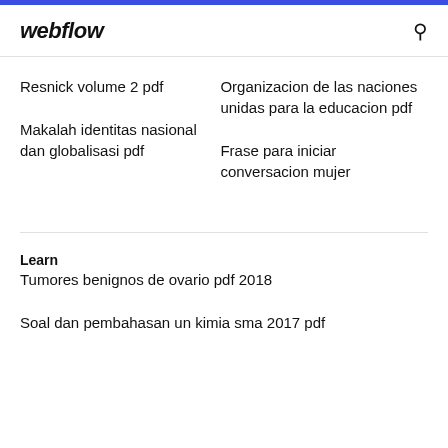webflow
Resnick volume 2 pdf
Makalah identitas nasional dan globalisasi pdf
Organizacion de las naciones unidas para la educacion pdf
Frase para iniciar conversacion mujer
Learn
Tumores benignos de ovario pdf 2018
Soal dan pembahasan un kimia sma 2017 pdf